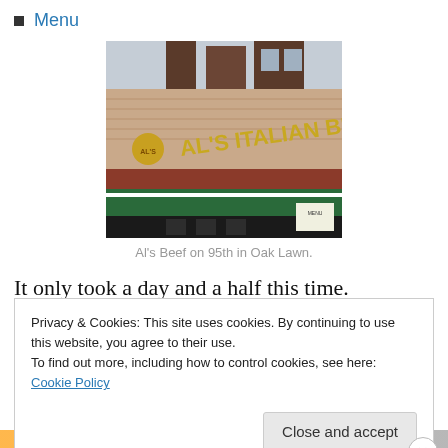Menu
[Figure (photo): Exterior photo of Al's Italian Beef restaurant on 95th street in Oak Lawn, showing the storefront sign reading "AL'S ITALIAN BEEF" in gold letters, brick facade, and green awning.]
Al's Beef on 95th in Oak Lawn.
It only took a day and a half this time.  Operation
Privacy & Cookies: This site uses cookies. By continuing to use this website, you agree to their use.
To find out more, including how to control cookies, see here: Cookie Policy
Close and accept